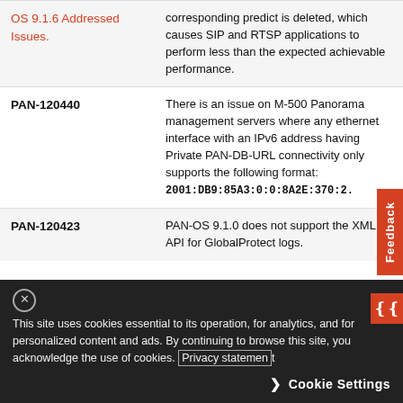| ID | Description |
| --- | --- |
| OS 9.1.6 Addressed Issues. | corresponding predict is deleted, which causes SIP and RTSP applications to perform less than the expected achievable performance. |
| PAN-120440 | There is an issue on M-500 Panorama management servers where any ethernet interface with an IPv6 address having Private PAN-DB-URL connectivity only supports the following format: 2001:DB9:85A3:0:0:8A2E:370:2. |
| PAN-120423 | PAN-OS 9.1.0 does not support the XML API for GlobalProtect logs. |
This site uses cookies essential to its operation, for analytics, and for personalized content and ads. By continuing to browse this site, you acknowledge the use of cookies. Privacy statement
Cookie Settings